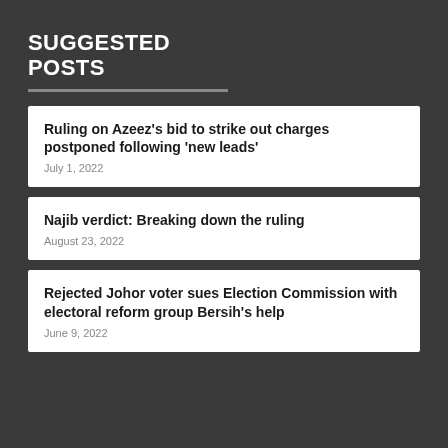SUGGESTED POSTS
Ruling on Azeez's bid to strike out charges postponed following 'new leads' — July 1, 2022
Najib verdict: Breaking down the ruling — August 23, 2022
Rejected Johor voter sues Election Commission with electoral reform group Bersih's help — June 9, 2022